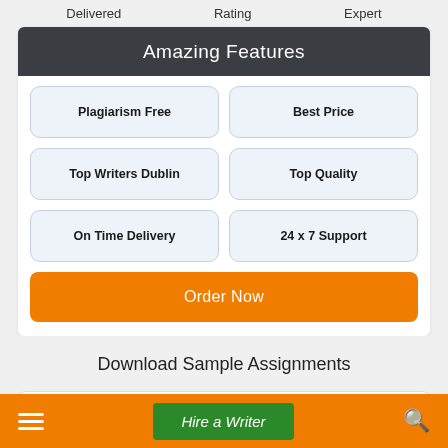Delivered   Rating   Expert
Amazing Features
Plagiarism Free
Best Price
Top Writers Dublin
Top Quality
On Time Delivery
24 x 7 Support
Order Now
Download Sample Assignments
Hire a Writer